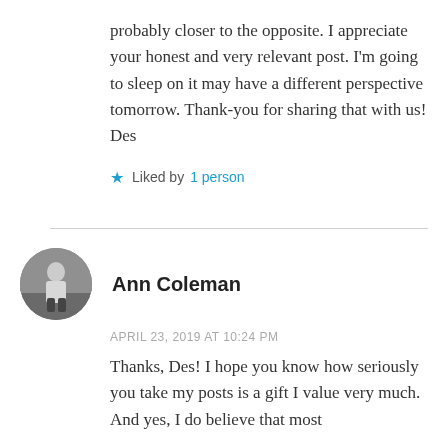probably closer to the opposite. I appreciate your honest and very relevant post. I'm going to sleep on it may have a different perspective tomorrow. Thank-you for sharing that with us! Des
★ Liked by 1 person
Ann Coleman
APRIL 23, 2019 AT 10:24 PM
Thanks, Des! I hope you know how seriously you take my posts is a gift I value very much. And yes, I do believe that most